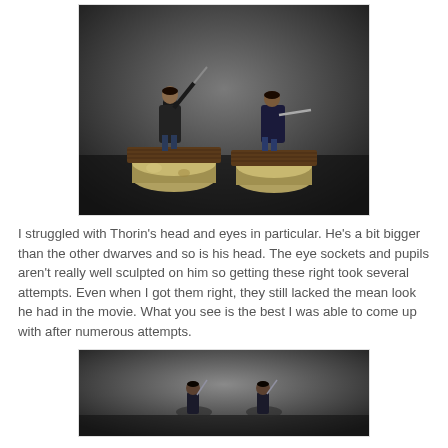[Figure (photo): Two painted miniature fantasy warrior figures on stone and wood bases, photographed against a dark grey background. Left figure has raised sword, right figure holds sword forward.]
I struggled with Thorin's head and eyes in particular. He's a bit bigger than the other dwarves and so is his head. The eye sockets and pupils aren't really well sculpted on him so getting these right took several attempts. Even when I got them right, they still lacked the mean look he had in the movie. What you see is the best I was able to come up with after numerous attempts.
[Figure (photo): Two painted miniature fantasy warrior figures shown from a different angle, partially visible at bottom of page.]